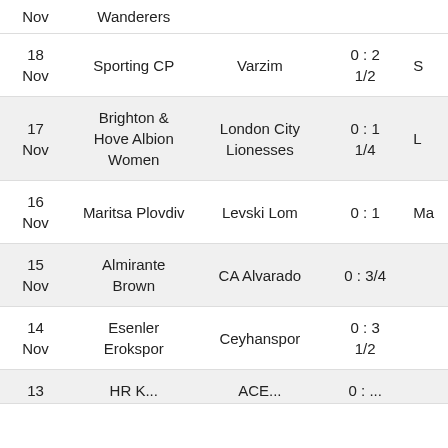| Date | Home | Away | Score |  |
| --- | --- | --- | --- | --- |
| Nov | Wanderers |  |  |  |
| 18 Nov | Sporting CP | Varzim | 0 : 2 1/2 | S |
| 17 Nov | Brighton & Hove Albion Women | London City Lionesses | 0 : 1 1/4 | L |
| 16 Nov | Maritsa Plovdiv | Levski Lom | 0 : 1 | Ma |
| 15 Nov | Almirante Brown | CA Alvarado | 0 : 3/4 |  |
| 14 Nov | Esenler Erokspor | Ceyhanspor | 0 : 3 1/2 |  |
| 13 | HR K... | ACE... | 0 : ... |  |